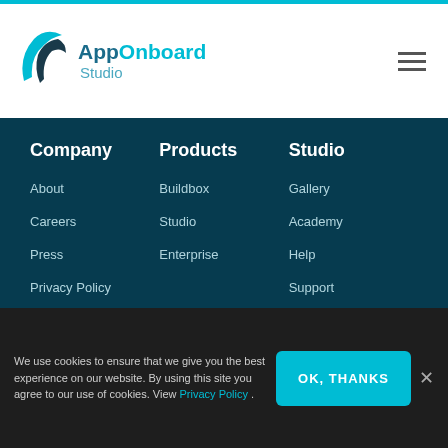AppOnboard Studio
Company
About
Careers
Press
Privacy Policy
Products
Buildbox
Studio
Enterprise
Studio
Gallery
Academy
Help
Support
We use cookies to ensure that we give you the best experience on our website. By using this site you agree to our use of cookies. View Privacy Policy.